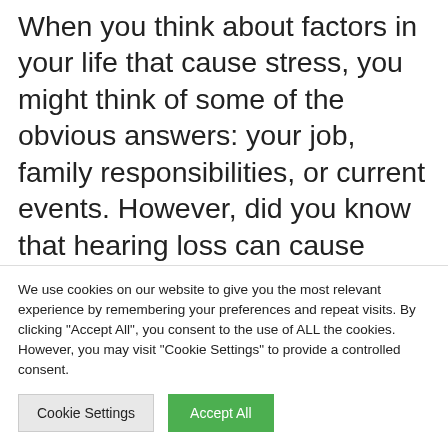When you think about factors in your life that cause stress, you might think of some of the obvious answers: your job, family responsibilities, or current events. However, did you know that hearing loss can cause stress too? Here is how hearing loss and stress are connected. The Connection between Hearing Loss and Stress Untreated…
We use cookies on our website to give you the most relevant experience by remembering your preferences and repeat visits. By clicking "Accept All", you consent to the use of ALL the cookies. However, you may visit "Cookie Settings" to provide a controlled consent.